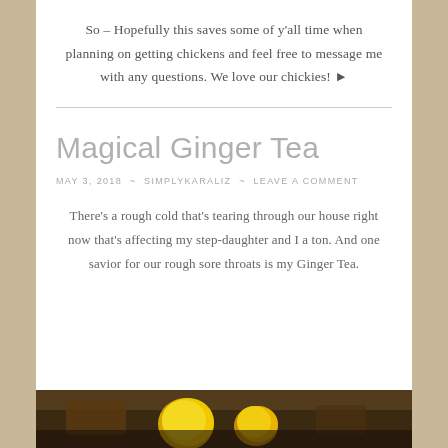So – Hopefully this saves some of y'all time when planning on getting chickens and feel free to message me with any questions. We love our chickies! 🐔
Magical Ginger Tea
MAY 3, 2018 ~ SIMPLYKARALIZ ~ LEAVE A COMMENT
There's a rough cold that's tearing through our house right now that's affecting my step-daughter and I a ton. And one savior for our rough sore throats is my Ginger Tea.
[Figure (photo): Bottom strip showing a photo of ginger tea ingredients including lemons against a dark background]